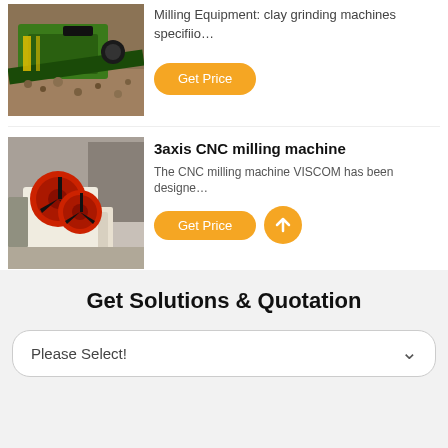[Figure (photo): Green industrial milling/crushing machine outdoors on gravel]
Milling Equipment: clay grinding machines specifiio…
Get Price
[Figure (photo): 3-axis CNC milling machine VISCOM, white and red industrial equipment]
3axis CNC milling machine
The CNC milling machine VISCOM has been designe…
Get Price
Get Solutions & Quotation
Please Select!